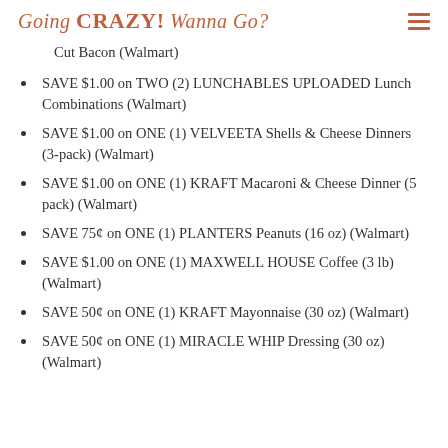Going CRAZY! Wanna Go?
Cut Bacon (Walmart)
SAVE $1.00 on TWO (2) LUNCHABLES UPLOADED Lunch Combinations (Walmart)
SAVE $1.00 on ONE (1) VELVEETA Shells & Cheese Dinners (3-pack) (Walmart)
SAVE $1.00 on ONE (1) KRAFT Macaroni & Cheese Dinner (5 pack) (Walmart)
SAVE 75¢ on ONE (1) PLANTERS Peanuts (16 oz) (Walmart)
SAVE $1.00 on ONE (1) MAXWELL HOUSE Coffee (3 lb) (Walmart)
SAVE 50¢ on ONE (1) KRAFT Mayonnaise (30 oz) (Walmart)
SAVE 50¢ on ONE (1) MIRACLE WHIP Dressing (30 oz) (Walmart)